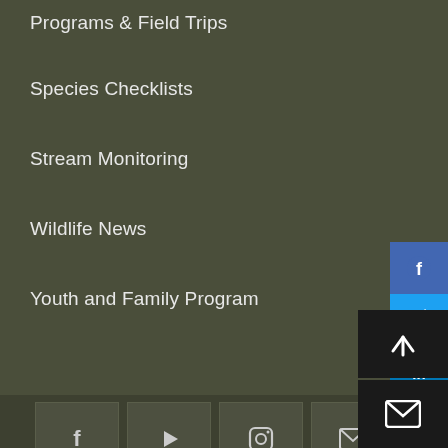Programs & Field Trips
Species Checklists
Stream Monitoring
Wildlife News
Youth and Family Program
[Figure (screenshot): Social media icon strip with Facebook, YouTube, Instagram, Email, and RSS icons on dark olive background]
[Figure (screenshot): Right-side share bar with Facebook (blue), Twitter (light blue), LinkedIn (dark blue), Email (dark gray), and More (+) (light gray) buttons]
[Figure (screenshot): Bottom-right buttons: scroll-to-top arrow and email/envelope icon on dark background]